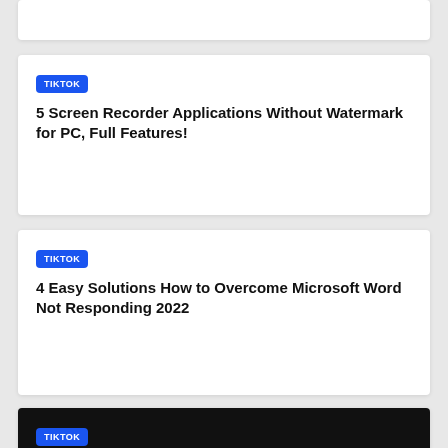TIKTOK
5 Screen Recorder Applications Without Watermark for PC, Full Features!
TIKTOK
4 Easy Solutions How to Overcome Microsoft Word Not Responding 2022
TIKTOK
4 Ways to Overcome This Site